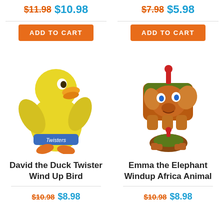$11.98 $10.98
$7.98 $5.98
ADD TO CART
ADD TO CART
[Figure (photo): Yellow plastic duck toy with blue band labeled Twisters and orange feet]
[Figure (photo): Orange tin wind-up elephant toy with red knob and a smaller turtle-like creature below it]
David the Duck Twister Wind Up Bird
Emma the Elephant Windup Africa Animal
$10.98 $8.98
$10.98 $8.98